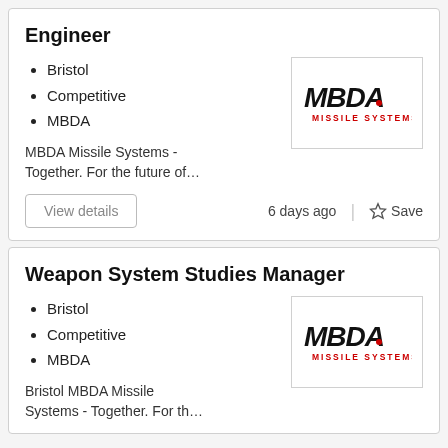Engineer
Bristol
Competitive
MBDA
MBDA Missile Systems - Together. For the future of…
[Figure (logo): MBDA Missile Systems logo - bold black italic text MBDA with red dot, red text MISSILE SYSTEMS below]
Weapon System Studies Manager
Bristol
Competitive
MBDA
Bristol MBDA Missile Systems - Together. For th…
[Figure (logo): MBDA Missile Systems logo - bold black italic text MBDA with red dot, red text MISSILE SYSTEMS below]